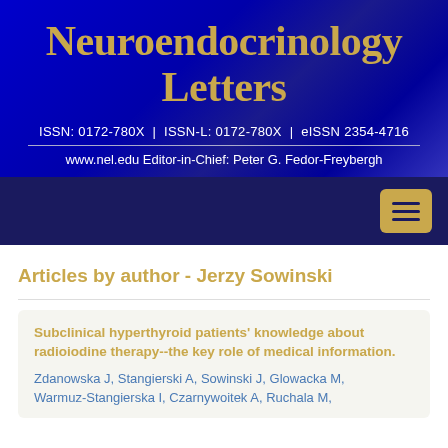Neuroendocrinology Letters
ISSN: 0172-780X  |  ISSN-L: 0172-780X  |  eISSN 2354-4716
www.nel.edu Editor-in-Chief: Peter G. Fedor-Freybergh
Articles by author - Jerzy Sowinski
Subclinical hyperthyroid patients' knowledge about radioiodine therapy--the key role of medical information.
Zdanowska J, Stangierski A, Sowinski J, Glowacka M, Warmuz-Stangierska I, Czarnywoitek A, Ruchala M,